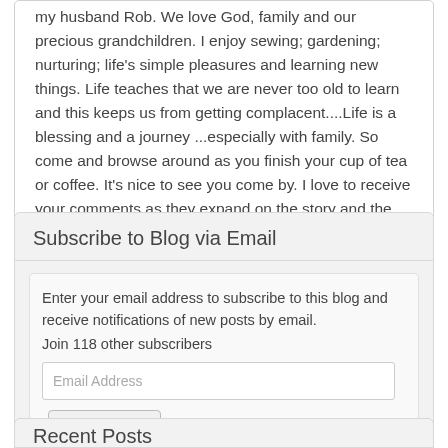my husband Rob. We love God, family and our precious grandchildren. I enjoy sewing; gardening; nurturing; life's simple pleasures and learning new things. Life teaches that we are never too old to learn and this keeps us from getting complacent....Life is a blessing and a journey ...especially with family. So come and browse around as you finish your cup of tea or coffee. It's nice to see you come by. I love to receive your comments as they expand on the story and the chain of connection.
Subscribe to Blog via Email
Enter your email address to subscribe to this blog and receive notifications of new posts by email.
Join 118 other subscribers
Recent Posts